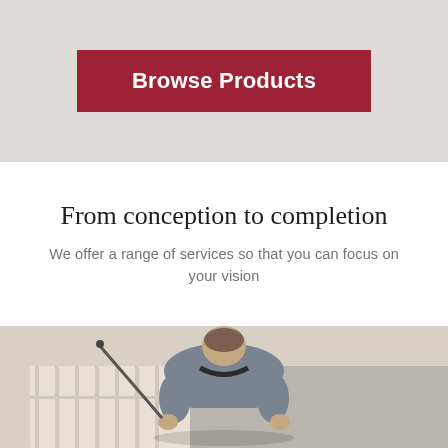Browse Products
From conception to completion
We offer a range of services so that you can focus on your vision
[Figure (photo): A worker crouching down and installing or inspecting flooring, viewed from above. The worker is wearing a grey shirt.]